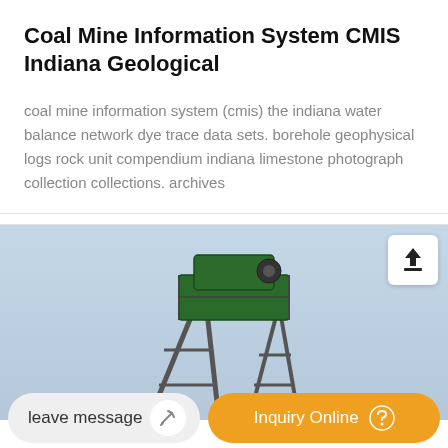Coal Mine Information System CMIS Indiana Geological
coal mine information system (cmis) the indiana water balance network dye trace data sets. borehole geophysical logs rock unit compendium indiana limestone photograph collection collections. archives
[Figure (photo): Photo of coal mining equipment (conveyor/loader structure) against a light blue sky background, with an upload icon button in the upper right corner.]
leave message
Inquiry Online